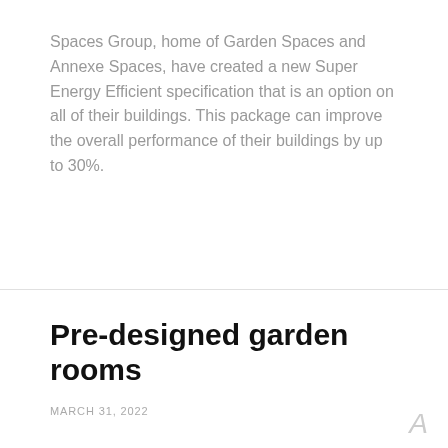Spaces Group, home of Garden Spaces and Annexe Spaces, have created a new Super Energy Efficient specification that is an option on all of their buildings. This package can improve the overall performance of their buildings by up to 30%.
Pre-designed garden rooms
MARCH 31, 2022